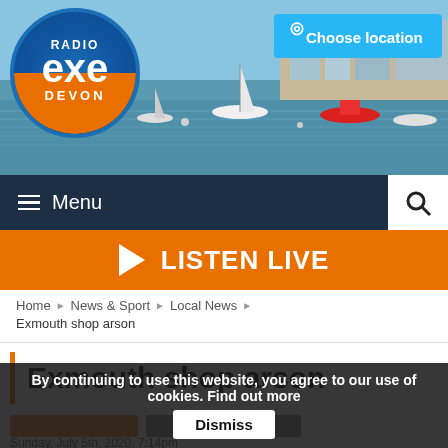[Figure (photo): Radio Exe Devon website screenshot showing harbor with boats, Radio Exe logo, navigation bar, listen live button, breadcrumb, and article title 'Exmouth shop arson' with a cookie consent banner at the bottom.]
Radio Exe Devon
Menu
LISTEN LIVE
Home ▶ News & Sport ▶ Local News ▶
Exmouth shop arson
Exmouth shop arson
By continuing to use this website, you agree to our use of cookies. Find out more  Dismiss